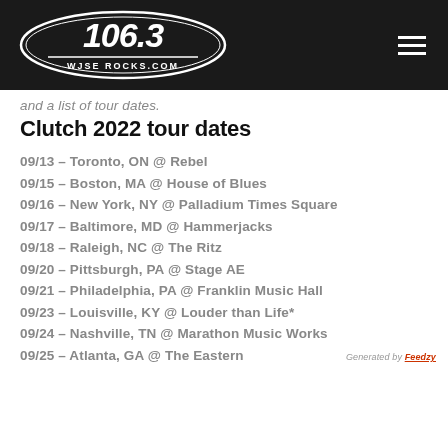106.3 WJSE ROCKS.COM
and a list of tour dates.
Clutch 2022 tour dates
09/13 – Toronto, ON @ Rebel
09/15 – Boston, MA @ House of Blues
09/16 – New York, NY @ Palladium Times Square
09/17 – Baltimore, MD @ Hammerjacks
09/18 – Raleigh, NC @ The Ritz
09/20 – Pittsburgh, PA @ Stage AE
09/21 – Philadelphia, PA @ Franklin Music Hall
09/23 – Louisville, KY @ Louder than Life*
09/24 – Nashville, TN @ Marathon Music Works
09/25 – Atlanta, GA @ The Eastern